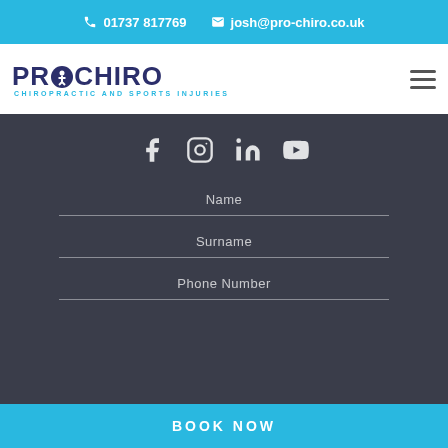01737 817769  josh@pro-chiro.co.uk
[Figure (logo): ProChiro logo with circular figure icon and text CHIROPRACTIC AND SPORTS INJURIES]
[Figure (infographic): Social media icons: Facebook, Instagram, LinkedIn, YouTube on dark background]
Name
Surname
Phone Number
BOOK NOW